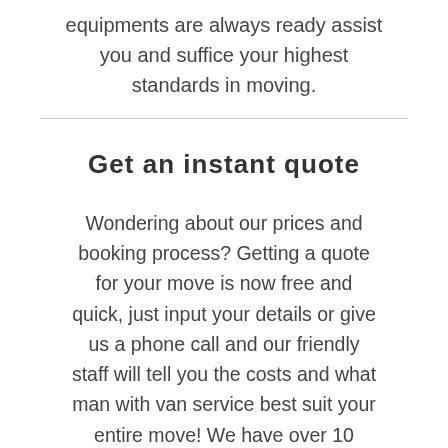equipments are always ready assist you and suffice your highest standards in moving.
Get an instant quote
Wondering about our prices and booking process? Getting a quote for your move is now free and quick, just input your details or give us a phone call and our friendly staff will tell you the costs and what man with van service best suit your entire move! We have over 10 years of experience in handling